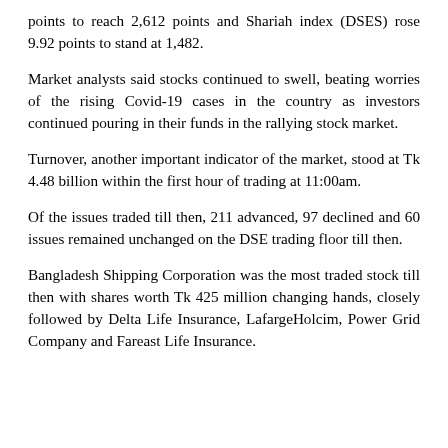points to reach 2,612 points and Shariah index (DSES) rose 9.92 points to stand at 1,482.
Market analysts said stocks continued to swell, beating worries of the rising Covid-19 cases in the country as investors continued pouring in their funds in the rallying stock market.
Turnover, another important indicator of the market, stood at Tk 4.48 billion within the first hour of trading at 11:00am.
Of the issues traded till then, 211 advanced, 97 declined and 60 issues remained unchanged on the DSE trading floor till then.
Bangladesh Shipping Corporation was the most traded stock till then with shares worth Tk 425 million changing hands, closely followed by Delta Life Insurance, LafargeHolcim, Power Grid Company and Fareast Life Insurance.